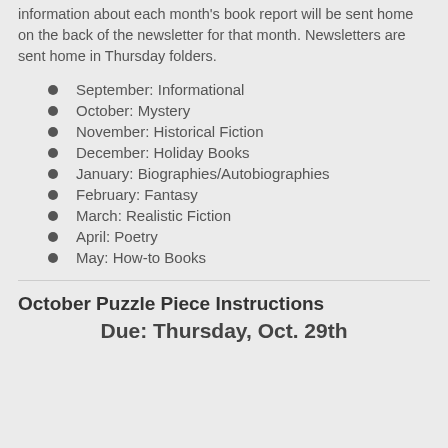information about each month's book report will be sent home on the back of the newsletter for that month. Newsletters are sent home in Thursday folders.
September: Informational
October: Mystery
November: Historical Fiction
December: Holiday Books
January: Biographies/Autobiographies
February: Fantasy
March: Realistic Fiction
April: Poetry
May: How-to Books
October Puzzle Piece Instructions
Due: Thursday, Oct. 29th